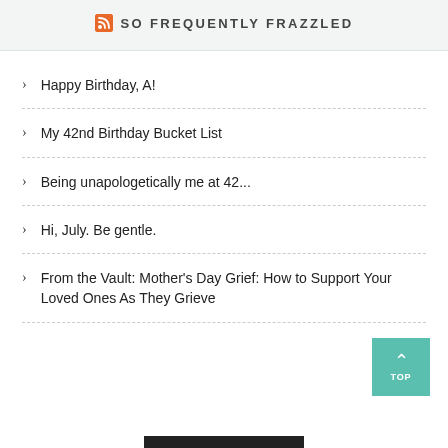SO FREQUENTLY FRAZZLED
Happy Birthday, A!
My 42nd Birthday Bucket List
Being unapologetically me at 42...
Hi, July. Be gentle.
From the Vault: Mother's Day Grief: How to Support Your Loved Ones As They Grieve